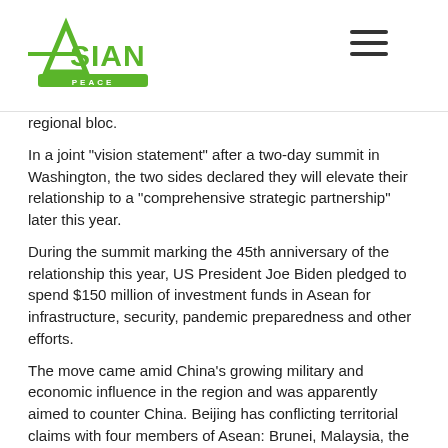Asian Peace Research logo and navigation
regional bloc.
In a joint "vision statement" after a two-day summit in Washington, the two sides declared they will elevate their relationship to a "comprehensive strategic partnership" later this year.
During the summit marking the 45th anniversary of the relationship this year, US President Joe Biden pledged to spend $150 million of investment funds in Asean for infrastructure, security, pandemic preparedness and other efforts.
The move came amid China's growing military and economic influence in the region and was apparently aimed to counter China. Beijing has conflicting territorial claims with four members of Asean: Brunei, Malaysia, the Philippines and Vietnam.
Regarding the South China Sea issue, the joint Asean-US statement backed full implementation of the 2002 Declaration on the Conduct of Parties in the South China Sea (DOC).